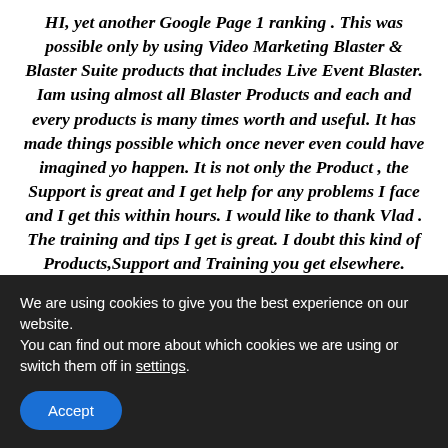HI, yet another Google Page 1 ranking . This was possible only by using Video Marketing Blaster & Blaster Suite products that includes Live Event Blaster. Iam using almost all Blaster Products and each and every products is many times worth and useful. It has made things possible which once never even could have imagined yo happen. It is not only the Product , the Support is great and I get help for any problems I face and I get this within hours. I would like to thank Vlad . The training and tips I get is great. I doubt this kind of Products,Support and Training you get elsewhere.
Pradeep Vasudevan
===============
We are using cookies to give you the best experience on our website.
You can find out more about which cookies we are using or switch them off in settings.